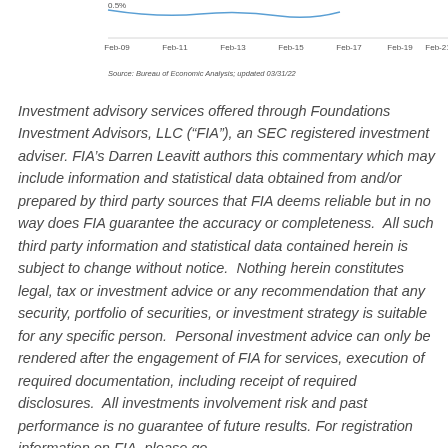[Figure (continuous-plot): Bottom portion of a line chart showing x-axis labels from Feb-09 to Feb-21, with y-axis value 0.5% visible at top left. Source label below.]
Source: Bureau of Economic Analysis; updated 03/31/22
Investment advisory services offered through Foundations Investment Advisors, LLC (“FIA”), an SEC registered investment adviser. FIA’s Darren Leavitt authors this commentary which may include information and statistical data obtained from and/or prepared by third party sources that FIA deems reliable but in no way does FIA guarantee the accuracy or completeness.  All such third party information and statistical data contained herein is subject to change without notice.  Nothing herein constitutes legal, tax or investment advice or any recommendation that any security, portfolio of securities, or investment strategy is suitable for any specific person.  Personal investment advice can only be rendered after the engagement of FIA for services, execution of required documentation, including receipt of required disclosures.  All investments involvement risk and past performance is no guarantee of future results. For registration information on FIA, please go